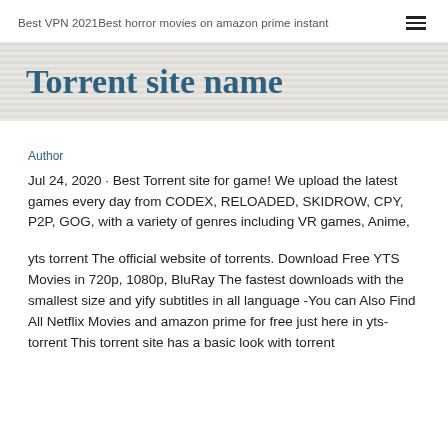Best VPN 2021Best horror movies on amazon prime instant
Torrent site name
Author
Jul 24, 2020 · Best Torrent site for game! We upload the latest games every day from CODEX, RELOADED, SKIDROW, CPY, P2P, GOG, with a variety of genres including VR games, Anime,
yts torrent The official website of torrents. Download Free YTS Movies in 720p, 1080p, BluRay The fastest downloads with the smallest size and yify subtitles in all language -You can Also Find All Netflix Movies and amazon prime for free just here in yts-torrent This torrent site has a basic look with torrent